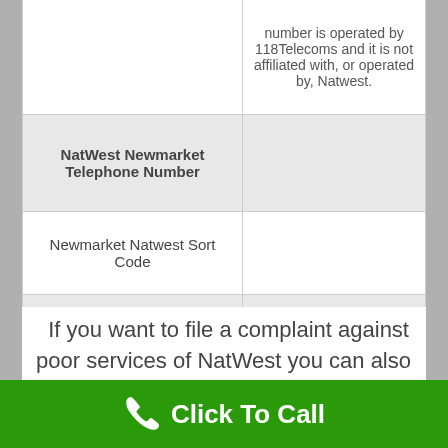|  |  |
| --- | --- |
|  | number is operated by 118Telecoms and it is not affiliated with, or operated by, Natwest. |
| NatWest Newmarket Telephone Number |  |
| Newmarket Natwest Sort Code |  |
| NatWest in Newmarket Number |  |
If you want to file a complaint against poor services of NatWest you can also send a letter to the NatWest customer complaint address: Natwest Bank. Head Office. 135 Bishopsgate, London, EC2M 3UR. Please